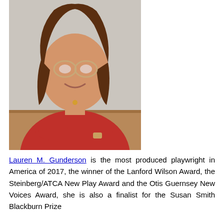[Figure (photo): Portrait photo of Lauren M. Gunderson, a woman with brown hair, glasses, wearing a red top, leaning forward with arms crossed on a wooden surface.]
Lauren M. Gunderson is the most produced playwright in America of 2017, the winner of the Lanford Wilson Award, the Steinberg/ATCA New Play Award and the Otis Guernsey New Voices Award, she is also a finalist for the Susan Smith Blackburn Prize